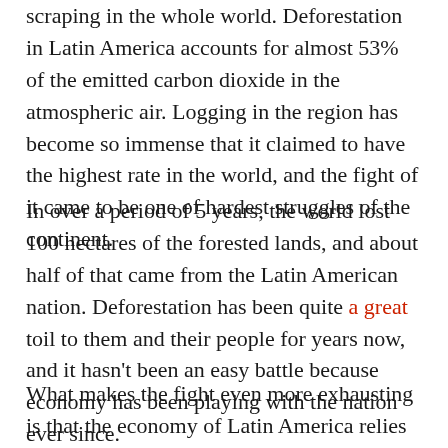scraping in the whole world. Deforestation in Latin America accounts for almost 53% of the emitted carbon dioxide in the atmospheric air. Logging in the region has become so immense that it claimed to have the highest rate in the world, and the fight of it came to be one of hardest struggles of the continent.
In over a period of 5 years, the world lost 100 hectares of the forested lands, and about half of that came from the Latin American nation. Deforestation has been quite a great toil to them and their people for years now, and it hasn't been an easy battle because economy has been playing with the nation ever since.
What makes the fight even more exhausting is that the economy of Latin America relies on its own soil for